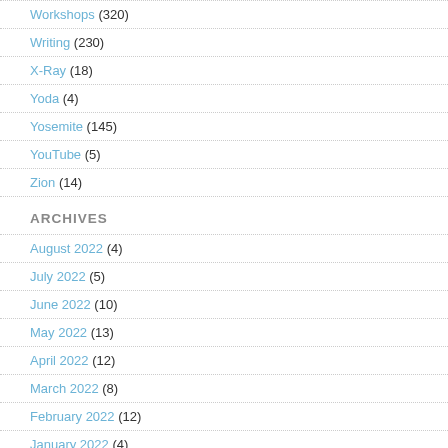Workshops (320)
Writing (230)
X-Ray (18)
Yoda (4)
Yosemite (145)
YouTube (5)
Zion (14)
ARCHIVES
August 2022 (4)
July 2022 (5)
June 2022 (10)
May 2022 (13)
April 2022 (12)
March 2022 (8)
February 2022 (12)
January 2022 (4)
December 2021 (8)
November 2021 (3)